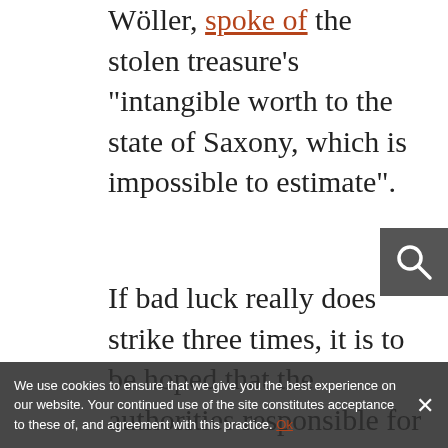Wöller, spoke of the stolen treasure's “intangible worth to the state of Saxony, which is impossible to estimate”.
If bad luck really does strike three times, it is to be hoped that the authorities responsible for policing art crime will have a quieter time in the coming months. Whilst it may be disheartening that heritage crime shows few signs of abating, perhaps at least a little comfort can be taken from the robust response to these of, and agreement with this practice. nt's recent attention to the treasure
We use cookies to ensure that we give you the best experience on our website. Your continued use of the site constitutes acceptance to these of, and agreement with this practice.